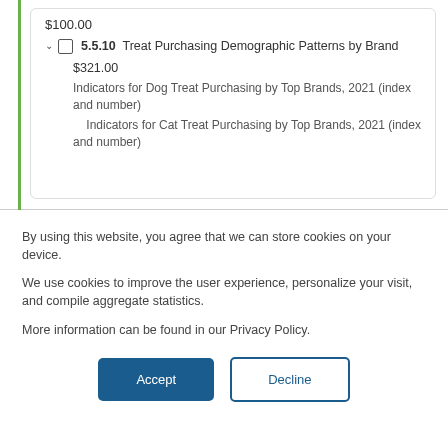$100.00
5.5.10  Treat Purchasing Demographic Patterns by Brand
$321.00
Indicators for Dog Treat Purchasing by Top Brands, 2021 (index and number)
Indicators for Cat Treat Purchasing by Top Brands, 2021 (index and number)
By using this website, you agree that we can store cookies on your device.
We use cookies to improve the user experience, personalize your visit, and compile aggregate statistics.
More information can be found in our Privacy Policy.
Accept
Decline